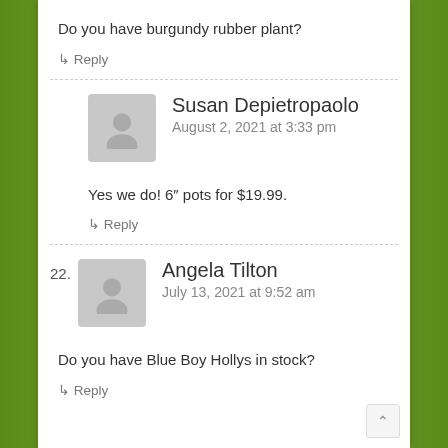Do you have burgundy rubber plant?
↳ Reply
Susan Depietropaolo
August 2, 2021 at 3:33 pm
Yes we do! 6" pots for $19.99.
↳ Reply
22. Angela Tilton
July 13, 2021 at 9:52 am
Do you have Blue Boy Hollys in stock?
↳ Reply